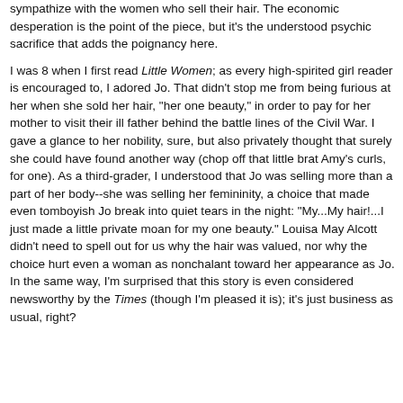sympathize with the women who sell their hair. The economic desperation is the point of the piece, but it's the understood psychic sacrifice that adds the poignancy here.

I was 8 when I first read Little Women; as every high-spirited girl reader is encouraged to, I adored Jo. That didn't stop me from being furious at her when she sold her hair, "her one beauty," in order to pay for her mother to visit their ill father behind the battle lines of the Civil War. I gave a glance to her nobility, sure, but also privately thought that surely she could have found another way (chop off that little brat Amy's curls, for one). As a third-grader, I understood that Jo was selling more than a part of her body--she was selling her femininity, a choice that made even tomboyish Jo break into quiet tears in the night: "My...My hair!...I just made a little private moan for my one beauty." Louisa May Alcott didn't need to spell out for us why the hair was valued, nor why the choice hurt even a woman as nonchalant toward her appearance as Jo. In the same way, I'm surprised that this story is even considered newsworthy by the Times (though I'm pleased it is); it's just business as usual, right?